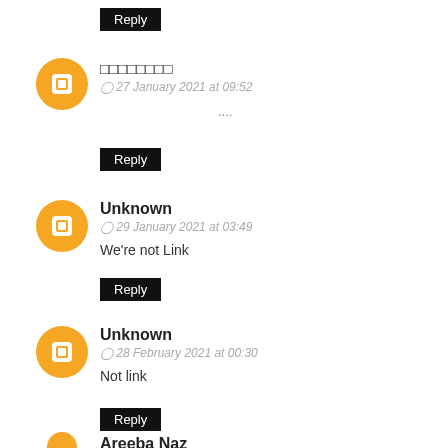Reply (button)
[Figure (illustration): Blogger orange avatar icon]
□□□□□□□□
27 January 2021 at 09:52
.....
Reply (button)
[Figure (illustration): Blogger orange avatar icon]
Unknown
29 January 2021 at 03:49
We're not Link
Reply (button)
[Figure (illustration): Blogger orange avatar icon]
Unknown
28 February 2021 at 00:30
Not link
Reply (button)
[Figure (illustration): Blogger orange avatar icon (partially visible)]
Areeba Naz